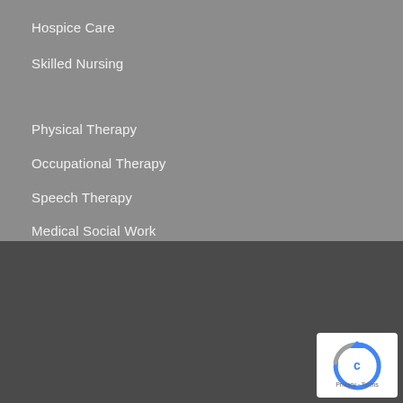Hospice Care
Skilled Nursing
Physical Therapy
Occupational Therapy
Speech Therapy
Medical Social Work
Copyright © 2020 Residential Health Group.
All Rights Reserved.
[Figure (logo): Made by Ryan logo with reCAPTCHA badge]
Privacy · Terms